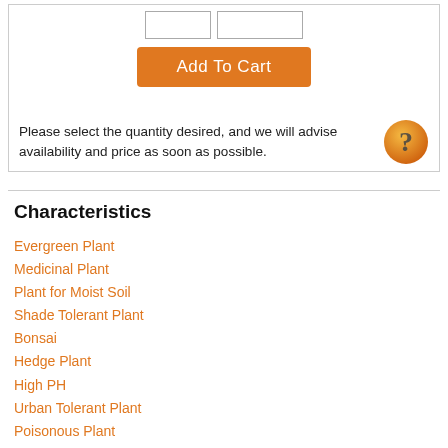[Figure (other): Two empty quantity input fields side by side]
[Figure (other): Orange 'Add To Cart' button]
Please select the quantity desired, and we will advise availability and price as soon as possible.
Characteristics
Evergreen Plant
Medicinal Plant
Plant for Moist Soil
Shade Tolerant Plant
Bonsai
Hedge Plant
High PH
Urban Tolerant Plant
Poisonous Plant
Ornamental Fruit